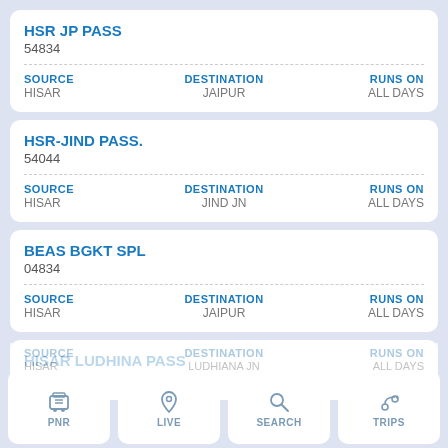HSR JP PASS
54834
| SOURCE | DESTINATION | RUNS ON |
| --- | --- | --- |
| HISAR | JAIPUR | ALL DAYS |
HSR-JIND PASS.
54044
| SOURCE | DESTINATION | RUNS ON |
| --- | --- | --- |
| HISAR | JIND JN | ALL DAYS |
BEAS BGKT SPL
04834
| SOURCE | DESTINATION | RUNS ON |
| --- | --- | --- |
| HISAR | JAIPUR | ALL DAYS |
HISAR LUDHINA PASS
54625
| SOURCE | DESTINATION | RUNS ON |
| --- | --- | --- |
| HISAR | LUDHIANA JN | ALL DAYS |
PNR | LIVE | SEARCH | TRIPS